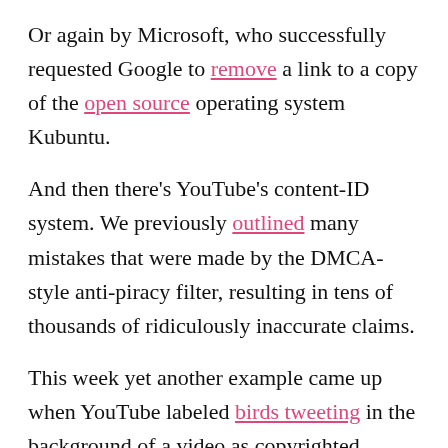Or again by Microsoft, who successfully requested Google to remove a link to a copy of the open source operating system Kubuntu.
And then there's YouTube's content-ID system. We previously outlined many mistakes that were made by the DMCA-style anti-piracy filter, resulting in tens of thousands of ridiculously inaccurate claims.
This week yet another example came up when YouTube labeled birds tweeting in the background of a video as copyrighted music. Again a mistake, but one that probably would have never been corrected if Reddit and Hacker News hadn't picked it up.